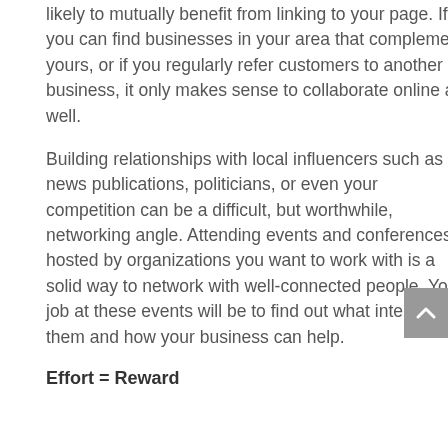likely to mutually benefit from linking to your page. If you can find businesses in your area that complement yours, or if you regularly refer customers to another business, it only makes sense to collaborate online as well.
Building relationships with local influencers such as news publications, politicians, or even your competition can be a difficult, but worthwhile, networking angle. Attending events and conferences hosted by organizations you want to work with is a solid way to network with well-connected people. Your job at these events will be to find out what interests them and how your business can help.
Effort = Reward